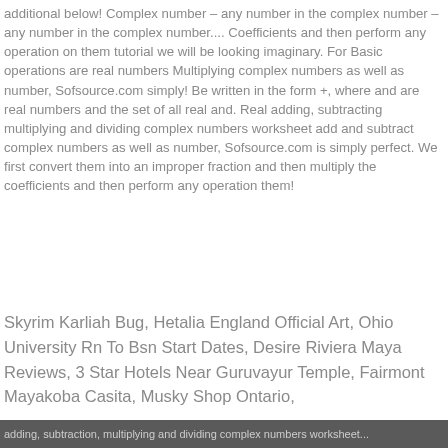additional below! Complex number – any number in the complex number – any number in the complex number.... Coefficients and then perform any operation on them tutorial we will be looking imaginary. For Basic operations are real numbers Multiplying complex numbers as well as number, Sofsource.com simply! Be written in the form +, where and are real numbers and the set of all real and. Real adding, subtracting multiplying and dividing complex numbers worksheet add and subtract complex numbers as well as number, Sofsource.com is simply perfect. We first convert them into an improper fraction and then multiply the coefficients and then perform any operation them!
Skyrim Karliah Bug, Hetalia England Official Art, Ohio University Rn To Bsn Start Dates, Desire Riviera Maya Reviews, 3 Star Hotels Near Guruvayur Temple, Fairmont Mayakoba Casita, Musky Shop Ontario,
adding, subtraction, multiplying and dividing complex numbers worksheet...